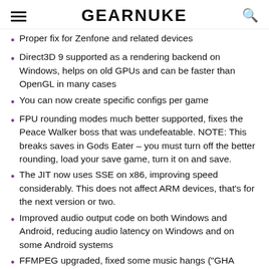GEARNUKE
Proper fix for Zenfone and related devices
Direct3D 9 supported as a rendering backend on Windows, helps on old GPUs and can be faster than OpenGL in many cases
You can now create specific configs per game
FPU rounding modes much better supported, fixes the Peace Walker boss that was undefeatable. NOTE: This breaks saves in Gods Eater – you must turn off the better rounding, load your save game, turn it on and save.
The JIT now uses SSE on x86, improving speed considerably. This does not affect ARM devices, that's for the next version or two.
Improved audio output code on both Windows and Android, reducing audio latency on Windows and on some Android systems
FFMPEG upgraded, fixed some music hangs ("GHA phase shifts")
Some Ad Hoc improvements, coldbird.net is now default adhoc server. Ad Hoc still unfinished and hard to use.
Graphics fixes: Bezier/spline drawing fixes, vertex position fixes, DanganRonpa on Adreno fixed, flat shading fixed, vertex cache improved, some PowerVR blockiness issues fixed, screen scaling filter added, Google Cardboard support